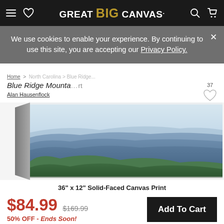GREAT BIG CANVAS.
We use cookies to enable your experience. By continuing to use this site, you are accepting our Privacy Policy.
Home > North Carolina > Blue Ridge...
Blue Ridge Mountains wall art
Alan Hausenflock
[Figure (photo): Canvas print of Blue Ridge Mountains showing layered blue ridges and green forested foreground, displayed as a wrapped canvas print with visible side wrap.]
36" x 12" Solid-Faced Canvas Print
$84.99  $169.99  50% OFF - Ends Soon!
Add To Cart